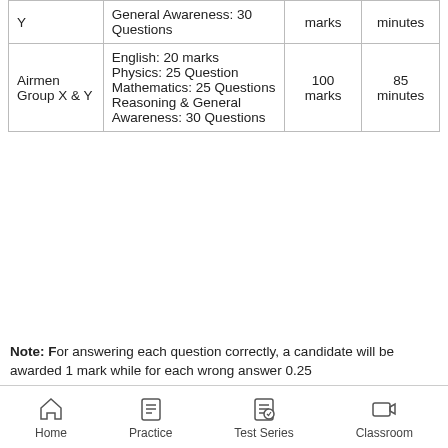| Group | Subjects | Marks | Time |
| --- | --- | --- | --- |
| Y | General Awareness: 30 Questions | marks | minutes |
| Airmen Group X & Y | English: 20 marks
Physics: 25 Question
Mathematics: 25 Questions
Reasoning & General Awareness: 30 Questions | 100 marks | 85 minutes |
Note: For answering each question correctly, a candidate will be awarded 1 mark while for each wrong answer 0.25
Home | Practice | Test Series | Classroom